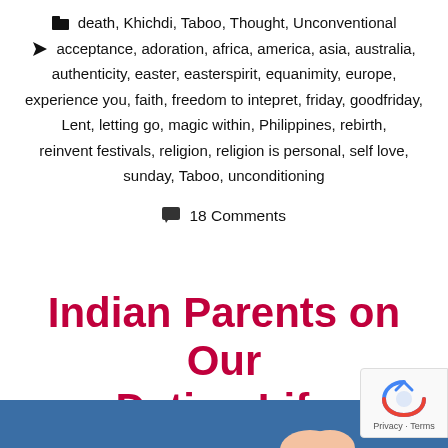📁 death, Khichdi, Taboo, Thought, Unconventional
🏷 acceptance, adoration, africa, america, asia, australia, authenticity, easter, easterspirit, equanimity, europe, experience you, faith, freedom to intepret, friday, goodfriday, Lent, letting go, magic within, Philippines, rebirth, reinvent festivals, religion, religion is personal, self love, sunday, Taboo, unconditioning
💬 18 Comments
Indian Parents on Our Dating Life
[Figure (photo): Blue background with hands visible at the bottom of the frame]